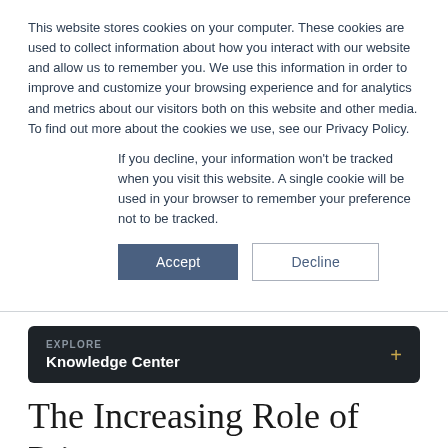This website stores cookies on your computer. These cookies are used to collect information about how you interact with our website and allow us to remember you. We use this information in order to improve and customize your browsing experience and for analytics and metrics about our visitors both on this website and other media. To find out more about the cookies we use, see our Privacy Policy.
If you decline, your information won't be tracked when you visit this website. A single cookie will be used in your browser to remember your preference not to be tracked.
Accept | Decline
EXPLORE Knowledge Center
The Increasing Role of Private